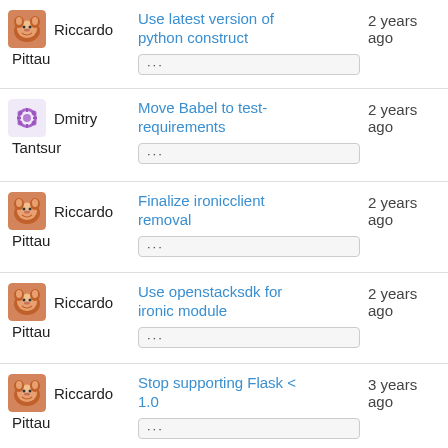Riccardo Pittau — Use latest version of python construct — 2 years ago
Dmitry Tantsur — Move Babel to test-requirements — 2 years ago
Riccardo Pittau — Finalize ironicclient removal — 2 years ago
Riccardo Pittau — Use openstacksdk for ironic module — 2 years ago
Riccardo Pittau — Stop supporting Flask < 1.0 — 3 years ago
Riccardo Pittau — Stop using six library — 3 years ago